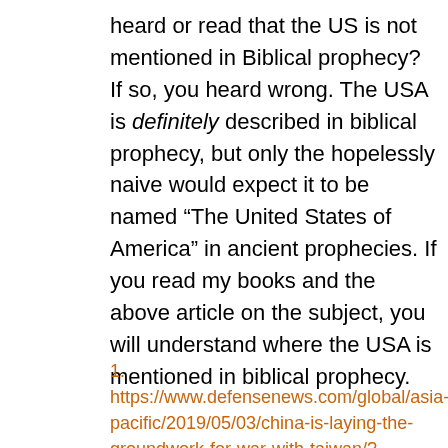heard or read that the US is not mentioned in Biblical prophecy? If so, you heard wrong. The USA is definitely described in biblical prophecy, but only the hopelessly naive would expect it to be named “The United States of America” in ancient prophecies. If you read my books and the above article on the subject, you will understand where the USA is mentioned in biblical prophecy.
1. https://www.defensenews.com/global/asia-pacific/2019/05/03/china-is-laying-the-groundwork-for-war-with-taiwan/?utm_source=Sailthru&utm_medium=email&ut